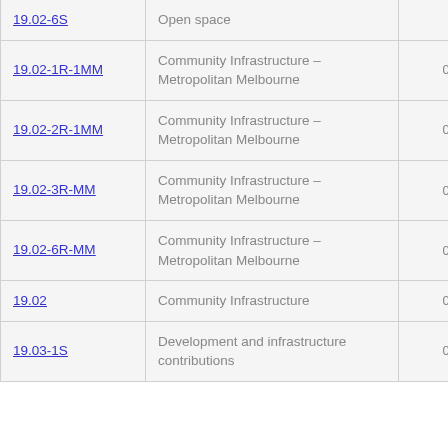| ID | Category | Size |
| --- | --- | --- |
| 19.02-6S | Open space | MB |
| 19.02-1R-1MM | Community Infrastructure – Metropolitan Melbourne | 0.81 MB |
| 19.02-2R-1MM | Community Infrastructure – Metropolitan Melbourne | 0.81 MB |
| 19.02-3R-MM | Community Infrastructure – Metropolitan Melbourne | 0.81 MB |
| 19.02-6R-MM | Community Infrastructure – Metropolitan Melbourne | 0.86 MB |
| 19.02 | Community Infrastructure | 0.75 MB |
| 19.03-1S | Development and infrastructure contributions | 0.25 MB |